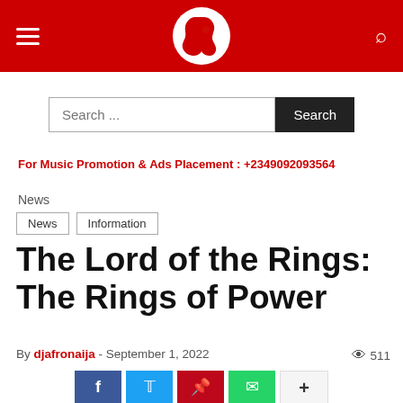AfroNaija
Search ...
For Music Promotion & Ads Placement : +2349092093564
News
News
Information
The Lord of the Rings: The Rings of Power
By djafronaija - September 1, 2022  511